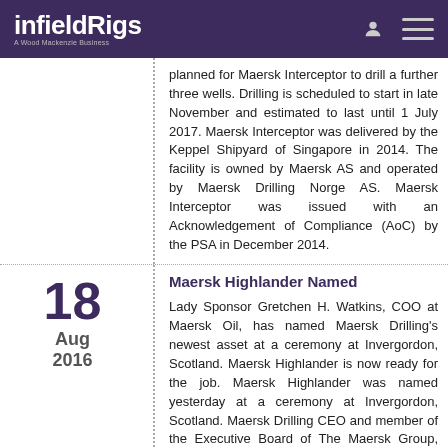infieldRigs — A Wood Mackenzie Business
planned for Maersk Interceptor to drill a further three wells. Drilling is scheduled to start in late November and estimated to last until 1 July 2017. Maersk Interceptor was delivered by the Keppel Shipyard of Singapore in 2014. The facility is owned by Maersk AS and operated by Maersk Drilling Norge AS. Maersk Interceptor was issued with an Acknowledgement of Compliance (AoC) by the PSA in December 2014.
Maersk Highlander Named
Lady Sponsor Gretchen H. Watkins, COO at Maersk Oil, has named Maersk Drilling's newest asset at a ceremony at Invergordon, Scotland. Maersk Highlander is now ready for the job. Maersk Highlander was named yesterday at a ceremony at Invergordon, Scotland. Maersk Drilling CEO and member of the Executive Board of The Maersk Group, Claus V. Hemmingsen, gave the commemorative speech in front of